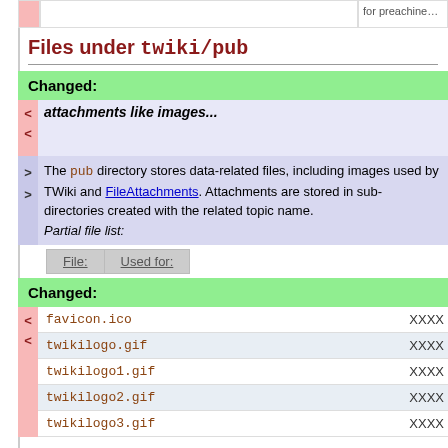Files under twiki/pub
Changed:
attachments like images...
The pub directory stores data-related files, including images used by TWiki and FileAttachments. Attachments are stored in sub-directories created with the related topic name. Partial file list:
| File: | Used for: |
| --- | --- |
Changed:
| File: | Used for: |
| --- | --- |
| favicon.ico | XXXX |
| twikilogo.gif | XXXX |
| twikilogo1.gif | XXXX |
| twikilogo2.gif | XXXX |
| twikilogo3.gif | XXXX |